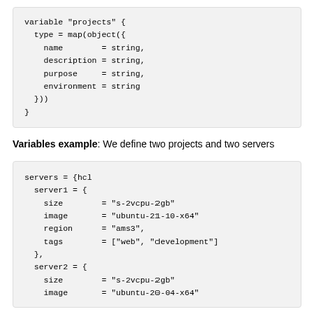[Figure (other): Code block showing Terraform variable definition for 'projects' with type = map(object({ name = string, description = string, purpose = string, environment = string }))]
Variables example: We define two projects and two servers
[Figure (other): Code block showing servers = {hcl with server1 = { size = s-2vcpu-2gb, image = ubuntu-21-10-x64, region = ams3, tags = [web, development] }, server2 = { size = s-2vcpu-2gb, image = ubuntu-20-04-x64 (cut off) }]